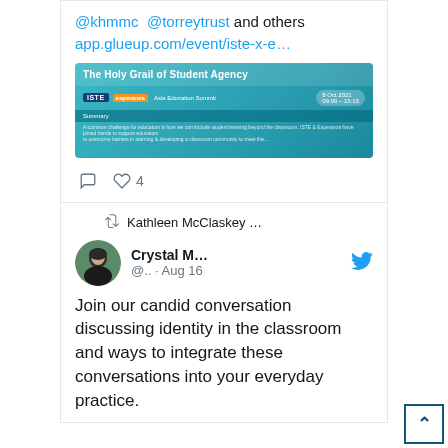@khmmc @torreytrust and others app.glueup.com/event/iste-x-e…
[Figure (screenshot): Event banner for 'The Holy Grail of Student Agency' at ISTE + Esperanza Asia Education Summit, 8 Oct 2021, 09:00–15:15]
Comment and 4 likes action row
Kathleen McClaskey … retweeted
Crystal M… @.. · Aug 16
Join our candid conversation discussing identity in the classroom and ways to integrate these conversations into your everyday practice.